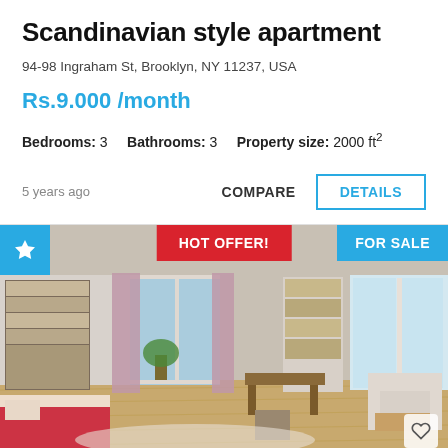Scandinavian style apartment
94-98 Ingraham St, Brooklyn, NY 11237, USA
Rs.9.000 /month
Bedrooms: 3    Bathrooms: 3    Property size: 2000 ft²
5 years ago
COMPARE
DETAILS
[Figure (photo): Interior photo of a Scandinavian style apartment showing bedroom and living room areas with wooden parquet floors, pink curtains, bookshelves, desk, and white armchair. Overlaid with HOT OFFER! badge in red, FOR SALE badge in blue, star badge in blue top-left, and heart icon bottom-right.]